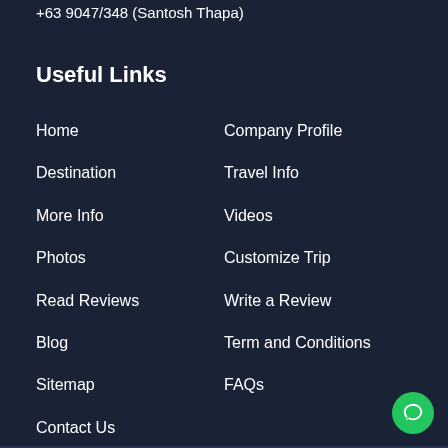+63 9047/348 (Santosh Thapa)
Useful Links
Home
Destination
More Info
Photos
Read Reviews
Blog
Sitemap
Contact Us
Company Profile
Travel Info
Videos
Customize Trip
Write a Review
Term and Conditions
FAQs